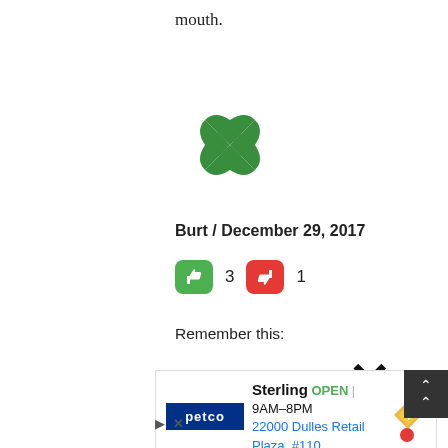mouth.
[Figure (illustration): Green decorative cross/flower avatar icon made of interlocking diamond shapes]
Burt / December 29, 2017
[Figure (infographic): Thumbs up green button with count 3, thumbs down red button with count 1]
Remember this:
“President Maithripala Sirisena pledged that he would do everything possible to introduce a new system of governance by abolishing the Executive Presidency as desired by late
[Figure (other): Advertisement overlay: Petco Sterling store, OPEN 9AM-8PM, 22000 Dulles Retail Plaza, #110, with navigation arrow icon. Also shows a large X close button and a scroll-up button.]